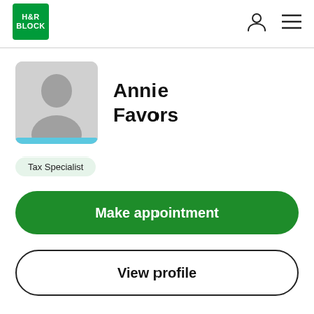H&R BLOCK
[Figure (photo): Generic user avatar placeholder with gray silhouette and light blue bar at bottom]
Annie Favors
Tax Specialist
Make appointment
View profile